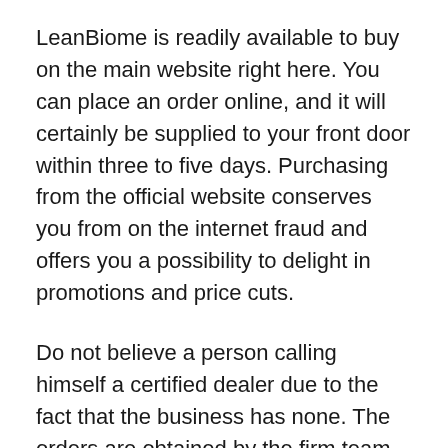LeanBiome is readily available to buy on the main website right here. You can place an order online, and it will certainly be supplied to your front door within three to five days. Purchasing from the official website conserves you from on the internet fraud and offers you a possibility to delight in promotions and price cuts.
Do not believe a person calling himself a certified dealer due to the fact that the business has none. The orders are obtained by the firm team as well as sent off from the storage facility straight.
It is not an expensive item and only requires a tiny health and wellness budget plan. There are 3 methods to buy it; you can acquire one, three, or 6